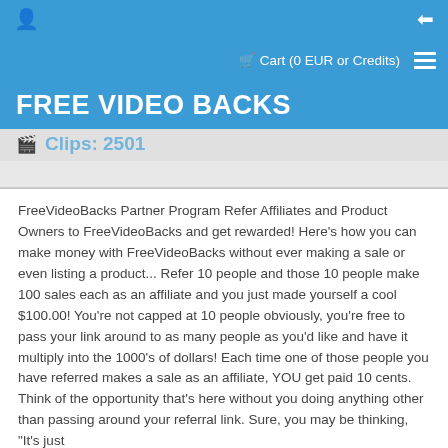Cart (0 EUR or Credits)
FREE VIDEO BACKS
Clips: 2501
FreeVideoBacks Partner Program Refer Affiliates and Product Owners to FreeVideoBacks and get rewarded! Here's how you can make money with FreeVideoBacks without ever making a sale or even listing a product... Refer 10 people and those 10 people make 100 sales each as an affiliate and you just made yourself a cool $100.00! You're not capped at 10 people obviously, you're free to pass your link around to as many people as you'd like and have it multiply into the 1000's of dollars! Each time one of those people you have referred makes a sale as an affiliate, YOU get paid 10 cents. Think of the opportunity that's here without you doing anything other than passing around your referral link. Sure, you may be thinking, "It's just a dime" but those dimes add up to dollars and those dollars add up!